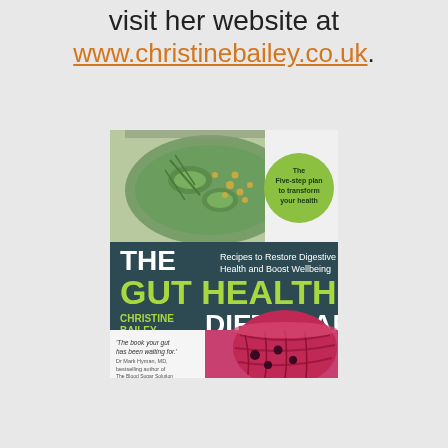visit her website at
www.christinebailey.co.uk.
[Figure (photo): Book cover of 'The Gut Health Diet Plan' by Christine Bailey. Shows food images — a jar with herbs/spices/cucumbers at top, and a bowl of red cabbage at bottom. Dark teal band across middle with title text. Green circular badge reading 'The Five-step plan to transform your health'. Quote: 'The book your gut has been waiting for.' Dr Mark Hyman, MD, bestselling author of The Blood Sugar Solution.]